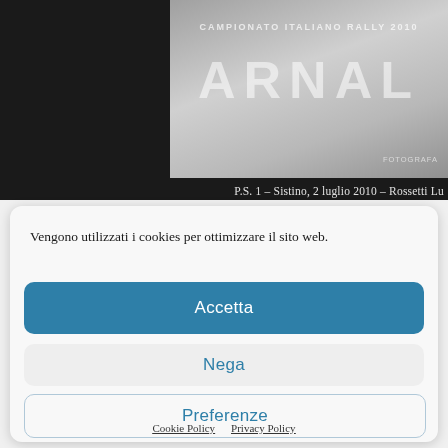[Figure (photo): A photograph showing a stone or concrete surface with text 'ARNAL' in large embossed/engraved letters and 'CAMPIONATO ITALIANO RALLY 2010' text above it, against a dark background.]
P.S. 1 – Sistino, 2 luglio 2010 – Rossetti Lu
Vengono utilizzati i cookies per ottimizzare il sito web.
Accetta
Nega
Preferenze
Cookie Policy  Privacy Policy